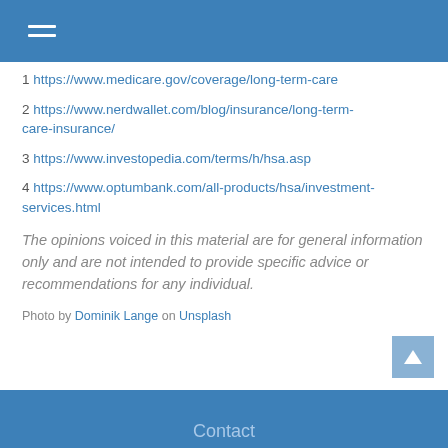1 https://www.medicare.gov/coverage/long-term-care
2 https://www.nerdwallet.com/blog/insurance/long-term-care-insurance/
3 https://www.investopedia.com/terms/h/hsa.asp
4 https://www.optumbank.com/all-products/hsa/investment-services.html
The opinions voiced in this material are for general information only and are not intended to provide specific advice or recommendations for any individual.
Photo by Dominik Lange on Unsplash
Contact